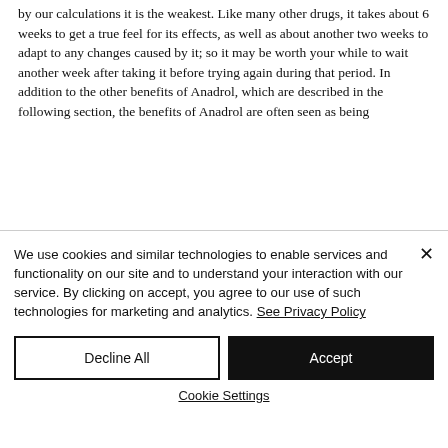by our calculations it is the weakest. Like many other drugs, it takes about 6 weeks to get a true feel for its effects, as well as about another two weeks to adapt to any changes caused by it; so it may be worth your while to wait another week after taking it before trying again during that period. In addition to the other benefits of Anadrol, which are described in the following section, the benefits of Anadrol are often seen as being
We use cookies and similar technologies to enable services and functionality on our site and to understand your interaction with our service. By clicking on accept, you agree to our use of such technologies for marketing and analytics. See Privacy Policy
Decline All
Accept
Cookie Settings